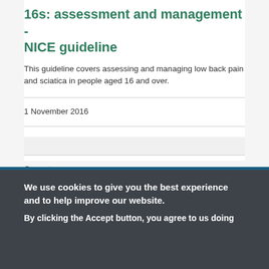16s: assessment and management - NICE guideline
This guideline covers assessing and managing low back pain and sciatica in people aged 16 and over.
1 November 2016
Guideline
Current
We use cookies to give you the best experience and to help improve our website.
By clicking the Accept button, you agree to us doing